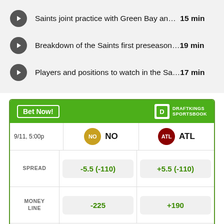Saints joint practice with Green Bay an...  15 min
Breakdown of the Saints first preseason...19 min
Players and positions to watch in the Sa...17 min
|  | NO | ATL |
| --- | --- | --- |
| 9/11, 5:00p | NO | ATL |
| SPREAD | -5.5  (-110) | +5.5  (-110) |
| MONEY LINE | -225 | +190 |
| OVER UNDER | > 42.5  (-110) |  |